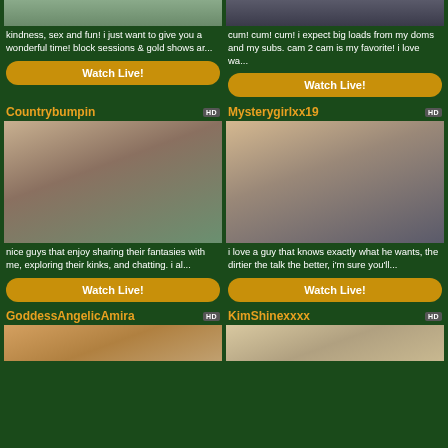kindness, sex and fun! i just want to give you a wonderful time! block sessions & gold shows ar...
cum! cum! cum! i expect big loads from my doms and my subs. cam 2 cam is my favorite! i love wa...
Countrybumpin HD
[Figure (photo): Photo of Countrybumpin streamer]
nice guys that enjoy sharing their fantasies with me, exploring their kinks, and chatting. i al...
Mysterygirlxx19 HD
[Figure (photo): Photo of Mysterygirlxx19 streamer]
i love a guy that knows exactly what he wants, the dirtier the talk the better, i'm sure you'll...
GoddessAngelicAmira HD
[Figure (photo): Photo of GoddessAngelicAmira streamer]
KimShinexxxx HD
[Figure (photo): Photo of KimShinexxxx streamer]